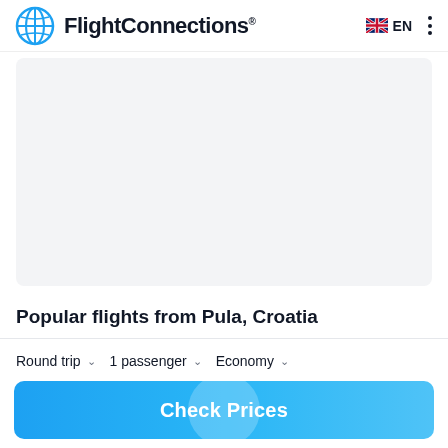FlightConnections® EN
[Figure (map): Light gray map/placeholder area showing a geographical map background]
Popular flights from Pula, Croatia
Round trip  1 passenger  Economy
Check Prices